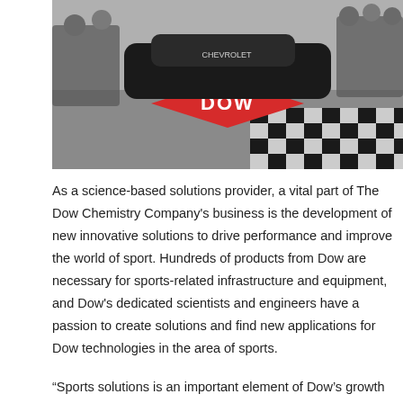[Figure (photo): Group of people standing behind a NASCAR-style race car. In the foreground, a large red diamond-shaped Dow logo is painted on the ground, next to a black-and-white checkered pattern finish line.]
As a science-based solutions provider, a vital part of The Dow Chemistry Company's business is the development of new innovative solutions to drive performance and improve the world of sport. Hundreds of products from Dow are necessary for sports-related infrastructure and equipment, and Dow's dedicated scientists and engineers have a passion to create solutions and find new applications for Dow technologies in the area of sports.
“Sports solutions is an important element of Dow’s growth and offers us access to new business opportunities globally,” said